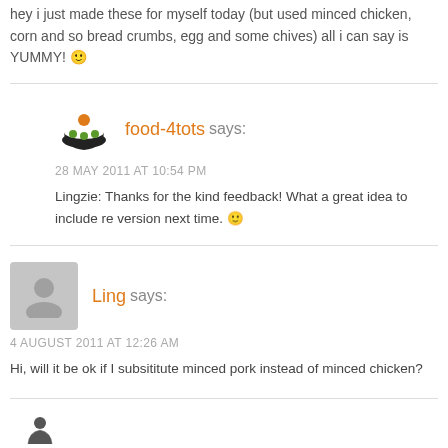hey i just made these for myself today (but used minced chicken, corn and so bread crumbs, egg and some chives) all i can say is YUMMY! 🙂
food-4tots says:
28 MAY 2011 AT 10:54 PM
Lingzie: Thanks for the kind feedback! What a great idea to include re version next time. 🙂
Ling says:
4 AUGUST 2011 AT 12:26 AM
Hi, will it be ok if I subsititute minced pork instead of minced chicken?